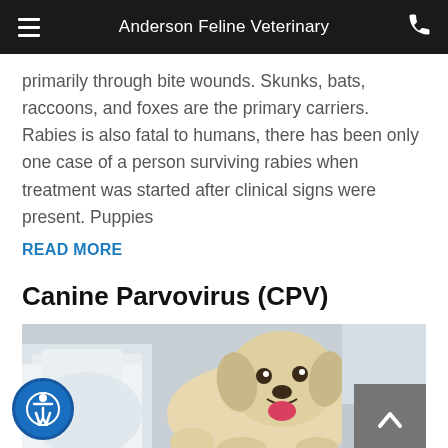Anderson Feline Veterinary
primarily through bite wounds. Skunks, bats, raccoons, and foxes are the primary carriers. Rabies is also fatal to humans, there has been only one case of a person surviving rabies when treatment was started after clinical signs were present. Puppies
READ MORE
Canine Parvovirus (CPV)
[Figure (photo): A golden/cream colored puppy being examined by a veterinarian in a white coat, the puppy is facing forward with its tongue out]
e Parvovirus is known worldwide and causes disease in many different species of animals.